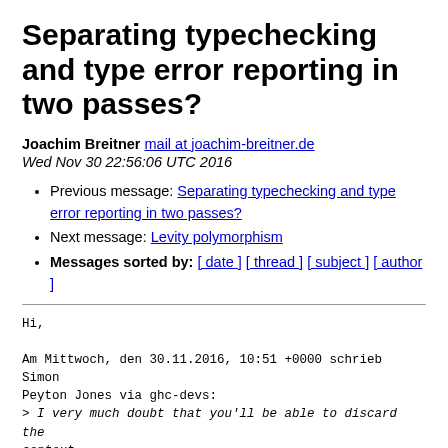Separating typechecking and type error reporting in two passes?
Joachim Breitner mail at joachim-breitner.de
Wed Nov 30 22:56:06 UTC 2016
Previous message: Separating typechecking and type error reporting in two passes?
Next message: Levity polymorphism
Messages sorted by: [ date ] [ thread ] [ subject ] [ author ]
Hi,

Am Mittwoch, den 30.11.2016, 10:51 +0000 schrieb Simon Peyton Jones via ghc-devs:
> I very much doubt that you'll be able to discard the context
> information from the type checker. Maybe some of it.   I can't say
> exactly why, it's a gut feel for now.